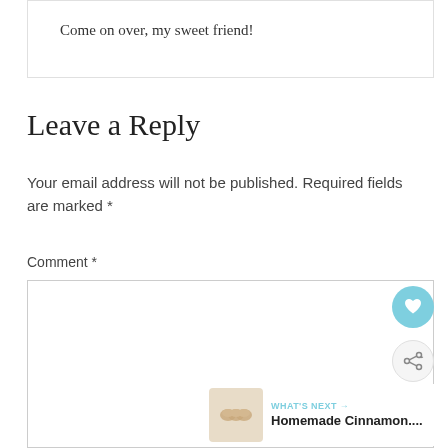Come on over, my sweet friend!
Leave a Reply
Your email address will not be published. Required fields are marked *
Comment *
[Figure (screenshot): Empty comment textarea input box]
[Figure (other): Heart favorite button (light blue circle with heart icon) and share button (grey circle with share icon)]
[Figure (other): What's Next widget showing Homemade Cinnamon... with a thumbnail image of cinnamon rolls]